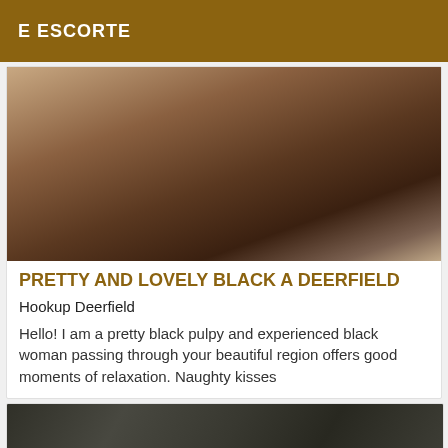E ESCORTE
[Figure (photo): Close-up photo of a Black woman's legs and lower body, wearing silver high-heeled sandals, lying on white bedding.]
PRETTY AND LOVELY BLACK A DEERFIELD
Hookup Deerfield
Hello! I am a pretty black pulpy and experienced black woman passing through your beautiful region offers good moments of relaxation. Naughty kisses
[Figure (photo): Dark outdoor photo, partially visible, showing ground or rocks in low light.]